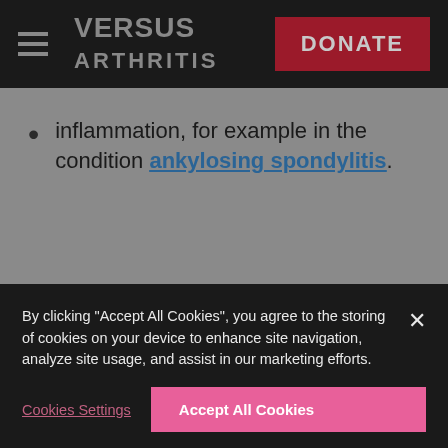VERSUS ARTHRITIS | DONATE
inflammation, for example in the condition ankylosing spondylitis.
SHARE THIS SECTION
BACK TO TOP
By clicking "Accept All Cookies", you agree to the storing of cookies on your device to enhance site navigation, analyze site usage, and assist in our marketing efforts.
Cookies Settings
Accept All Cookies